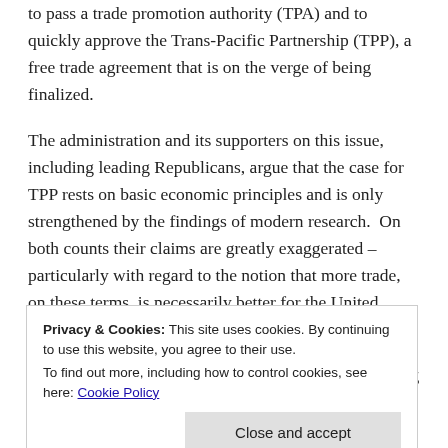to pass a trade promotion authority (TPA) and to quickly approve the Trans-Pacific Partnership (TPP), a free trade agreement that is on the verge of being finalized.
The administration and its supporters on this issue, including leading Republicans, argue that the case for TPP rests on basic economic principles and is only strengthened by the findings of modern research. On both counts their claims are greatly exaggerated – particularly with regard to the notion that more trade, on these terms, is necessarily better for the United States.
There is a strong theoretical and empirical case – dating
Privacy & Cookies: This site uses cookies. By continuing to use this website, you agree to their use. To find out more, including how to control cookies, see here: Cookie Policy
liberalization. Continue reading →